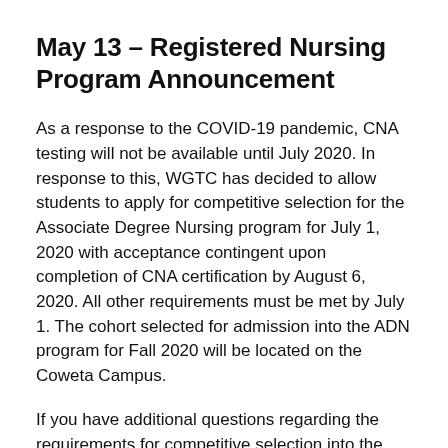May 13 – Registered Nursing Program Announcement
As a response to the COVID-19 pandemic, CNA testing will not be available until July 2020. In response to this, WGTC has decided to allow students to apply for competitive selection for the Associate Degree Nursing program for July 1, 2020 with acceptance contingent upon completion of CNA certification by August 6, 2020. All other requirements must be met by July 1. The cohort selected for admission into the ADN program for Fall 2020 will be located on the Coweta Campus.
If you have additional questions regarding the requirements for competitive selection into the ADN program for Fall Semester 2020, feel free to